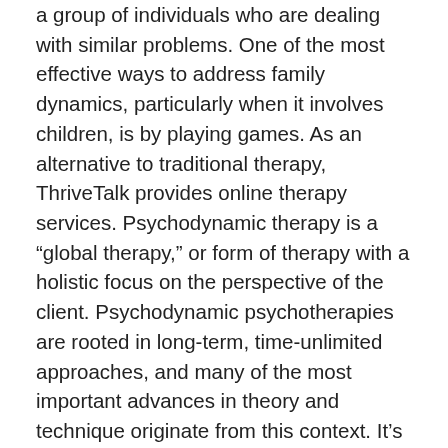a group of individuals who are dealing with similar problems. One of the most effective ways to address family dynamics, particularly when it involves children, is by playing games. As an alternative to traditional therapy, ThriveTalk provides online therapy services. Psychodynamic therapy is a "global therapy," or form of therapy with a holistic focus on the perspective of the client. Psychodynamic psychotherapies are rooted in long-term, time-unlimited approaches, and many of the most important advances in theory and technique originate from this context. It's also very important that you find the right one for you. Match. It allows the patient to share how they truly feel without any form of censorship. The answers to these questions help you know if the therapist will be the right fit for you. Cognitive Behavioral therapy (CBT) is a short term (often 12 session) approach to treatment that encourages changing your thinking, in order to change your feelings and behaviors. Write. The patient is encouraged to talk about their feelings, emotions, fears, and desires with minimal interruption from the therapist. When choosing a mental health